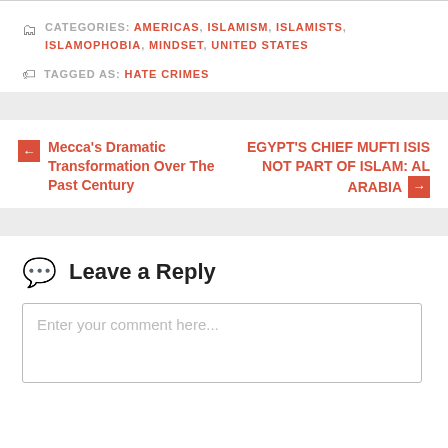CATEGORIES: AMERICAS, ISLAMISM, ISLAMISTS, ISLAMOPHOBIA, MINDSET, UNITED STATES
TAGGED AS: HATE CRIMES
← Mecca's Dramatic Transformation Over The Past Century
EGYPT'S CHIEF MUFTI ISIS NOT PART OF ISLAM: AL ARABIA →
Leave a Reply
Enter your comment here...